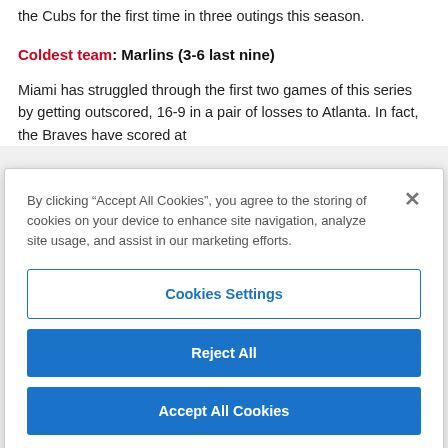the Cubs for the first time in three outings this season.
Coldest team: Marlins (3-6 last nine)
Miami has struggled through the first two games of this series by getting outscored, 16-9 in a pair of losses to Atlanta. In fact, the Braves have scored at
By clicking “Accept All Cookies”, you agree to the storing of cookies on your device to enhance site navigation, analyze site usage, and assist in our marketing efforts.
Cookies Settings
Reject All
Accept All Cookies